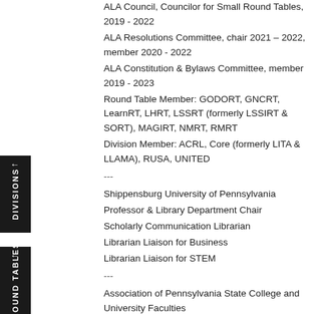ALA Council, Councilor for Small Round Tables, 2019 - 2022
ALA Resolutions Committee, chair 2021 – 2022, member 2020 - 2022
ALA Constitution & Bylaws Committee, member 2019 - 2023
Round Table Member: GODORT, GNCRT, LearnRT, LHRT, LSSRT (formerly LSSIRT & SORT), MAGIRT, NMRT, RMRT
Division Member: ACRL, Core (formerly LITA & LLAMA), RUSA, UNITED
---
Shippensburg University of Pennsylvania
Professor & Library Department Chair
Scholarly Communication Librarian
Librarian Liaison for Business
Librarian Liaison for STEM
---
Association of Pennsylvania State College and University Faculties
Shippensburg University Chapter, President, 2022-2024; Vice President, 2016 - 2022
---
Jeffrey W and Jo Anne R Coy Public Library of Shippensburg